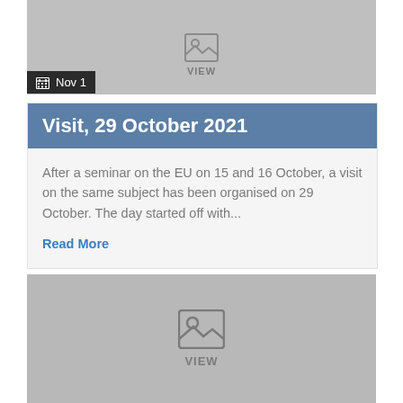[Figure (photo): Grey placeholder image block at top with VIEW label (partially visible)]
Nov 1
Visit, 29 October 2021
After a seminar on the EU on 15 and 16 October, a visit on the same subject has been organised on 29 October. The day started off with...
Read More
[Figure (photo): Grey placeholder image block with image icon and VIEW label]